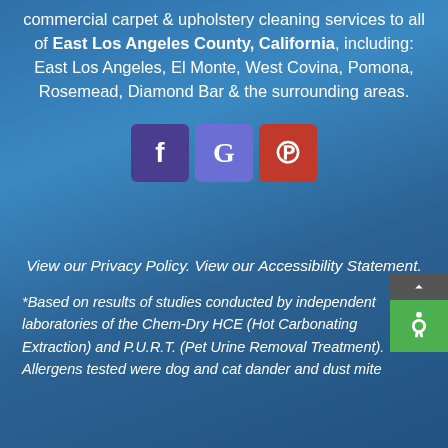commercial carpet & upholstery cleaning services to all of East Los Angeles County, California, including: East Los Angeles, El Monte, West Covina, Pomona, Rosemead, Diamond Bar & the surrounding areas.
[Figure (illustration): Three social media icon buttons: Facebook (dark purple/indigo), Google (medium blue/indigo), Pinterest (red)]
View our Privacy Policy. View our Accessibility Statement.
*Based on results of studies conducted by independent laboratories of the Chem-Dry HCE (Hot Carbonating Extraction) and P.U.R.T. (Pet Urine Removal Treatment). Allergens tested were dog and cat dander and dust mite